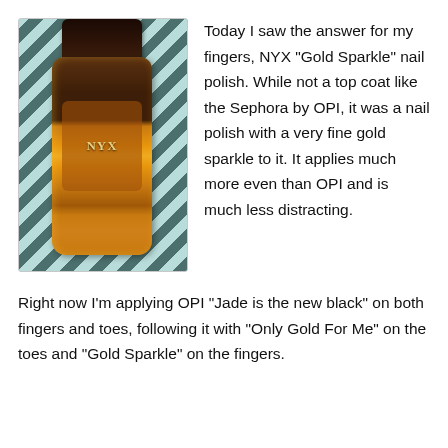[Figure (photo): Photo of a NYX Gold Sparkle nail polish bottle with a dark brown cap, glittery gold liquid visible through the bottle, placed on a zebra-print background with teal tones.]
Today I saw the answer for my fingers, NYX "Gold Sparkle" nail polish. While not a top coat like the Sephora by OPI, it was a nail polish with a very fine gold sparkle to it. It applies much more even than OPI and is much less distracting.
Right now I'm applying OPI "Jade is the new black" on both fingers and toes, following it with "Only Gold For Me" on the toes and "Gold Sparkle" on the fingers.